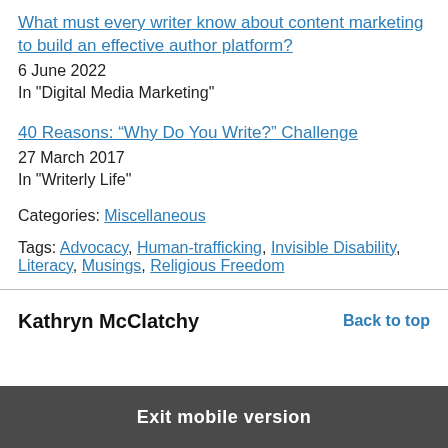What must every writer know about content marketing to build an effective author platform?
6 June 2022
In "Digital Media Marketing"
40 Reasons: “Why Do You Write?” Challenge
27 March 2017
In "Writerly Life"
Categories: Miscellaneous
Tags: Advocacy, Human-trafficking, Invisible Disability, Literacy, Musings, Religious Freedom
Kathryn McClatchy
Back to top
Exit mobile version